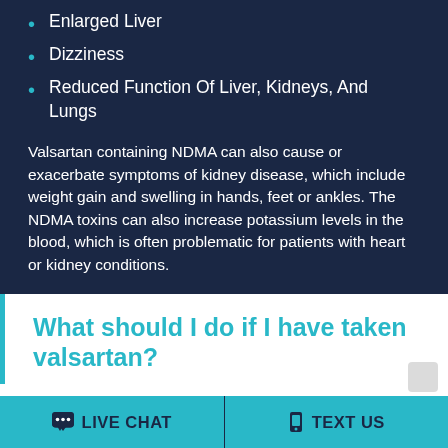Enlarged Liver
Dizziness
Reduced Function Of Liver, Kidneys, And Lungs
Valsartan containing NDMA can also cause or exacerbate symptoms of kidney disease, which include weight gain and swelling in hands, feet or ankles. The NDMA toxins can also increase potassium levels in the blood, which is often problematic for patients with heart or kidney conditions.
What should I do if I have taken valsartan?